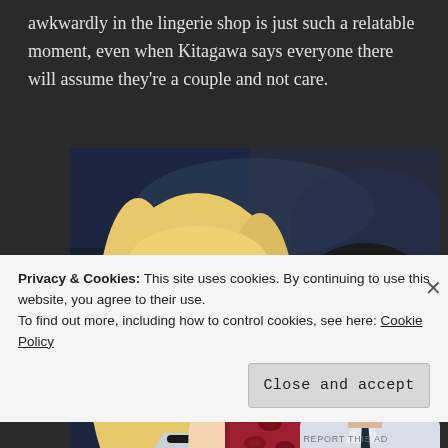awkwardly in the lingerie shop is just such a relatable moment, even when Kitagawa says everyone there will assume they're a couple and not care.
[Figure (illustration): Anime screenshot showing two characters: a blonde girl with pink eyes holding a leopard-print phone case, and a dark-haired boy in a white shirt and dark tie, both appearing to be in a shop setting.]
Privacy & Cookies: This site uses cookies. By continuing to use this website, you agree to their use.
To find out more, including how to control cookies, see here: Cookie Policy
Close and accept